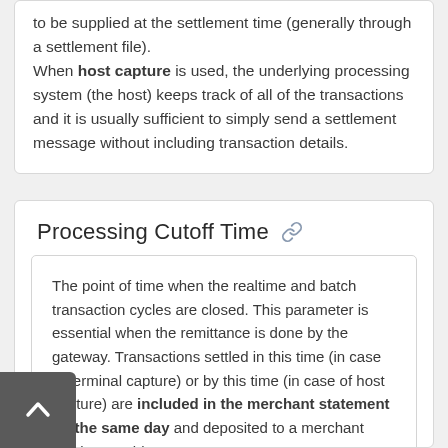to be supplied at the settlement time (generally through a settlement file). When host capture is used, the underlying processing system (the host) keeps track of all of the transactions and it is usually sufficient to simply send a settlement message without including transaction details.
Processing Cutoff Time
The point of time when the realtime and batch transaction cycles are closed. This parameter is essential when the remittance is done by the gateway. Transactions settled in this time (in case of terminal capture) or by this time (in case of host capture) are included in the merchant statement on the same day and deposited to a merchant service provider.

Processing cutoff time must be earlier than